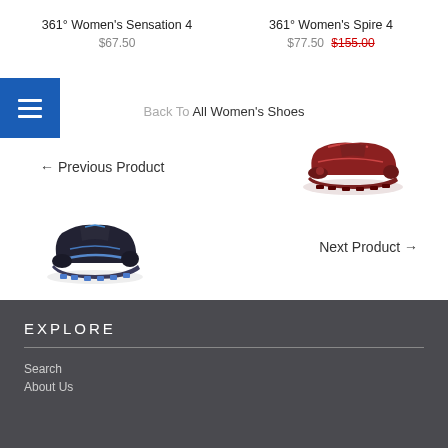361° Women's Sensation 4
$67.50
361° Women's Spire 4
$77.50  $155.00
[Figure (other): Blue menu/hamburger button icon]
Back To All Women's Shoes
[Figure (photo): Dark red/maroon trail running shoe facing right - previous product]
← Previous Product
[Figure (photo): Black and blue trail running shoe facing right - next product]
Next Product →
EXPLORE
Search
About Us